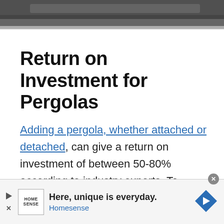[Figure (photo): Top portion of a photo showing a dark surface, partial view of a pergola or outdoor structure, dark and light tones.]
Return on Investment for Pergolas
Adding a pergola, whether attached or detached, can give a return on investment of between 50-80% according to industry experts. To
[Figure (other): Advertisement banner: Home Sense ad. Text reads 'Here, unique is everyday. Homesense' with Home Sense logo and navigation arrow icon.]